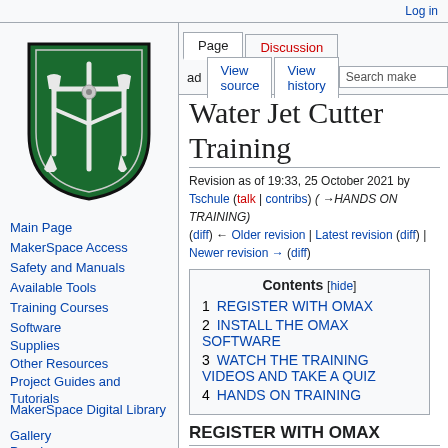Log in
[Figure (logo): MakerSpace wiki shield logo — green shield with wrench and tools]
Main Page
MakerSpace Access
Safety and Manuals
Available Tools
Training Courses
Software
Supplies
Other Resources
Project Guides and Tutorials
MakerSpace Digital Library
Gallery
People
Water Jet Cutter Training
Revision as of 19:33, 25 October 2021 by Tschule (talk | contribs) (→HANDS ON TRAINING)
(diff) ← Older revision | Latest revision (diff) | Newer revision → (diff)
| Contents [hide] |
| --- |
| 1 REGISTER WITH OMAX |
| 2 INSTALL THE OMAX SOFTWARE |
| 3 WATCH THE TRAINING VIDEOS AND TAKE A QUIZ |
| 4 HANDS ON TRAINING |
REGISTER WITH OMAX